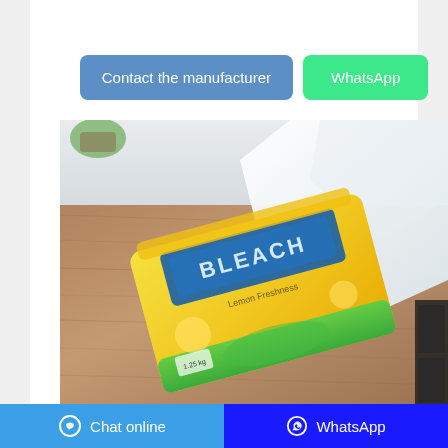[Figure (other): Two buttons: 'Contact the manufacturer' (blue/steelblue) and 'WhatsApp' (green)]
[Figure (photo): Product photo of a bag of laundry detergent powder (yellow/green branded packaging labeled something like 'Lemon Freshness') lying on a wooden table surface next to a white cloth/towel]
Laundry Detergent Suppliers & Exporters
Laundry Detergent suppliers directory listing
[Figure (other): Bottom navigation bar with two buttons: 'Chat online' (light blue) on left and 'WhatsApp' (dark blue/navy) on right, each with icons]